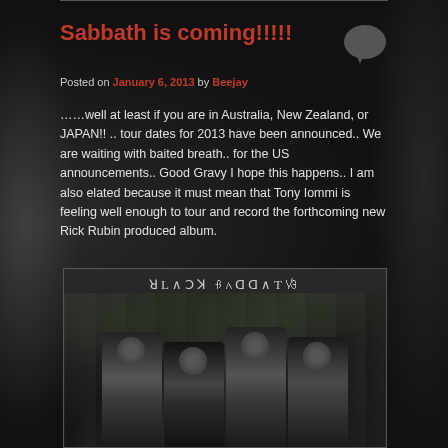Sabbath is coming!!!!!
Posted on January 6, 2013 by Beejay
……well at least if you are in Australia, New Zealand, or JAPAN!! .. tour dates for 2013 have been announced.. We are waiting with baited breath.. for the US announcements.. Good Gravy I hope this happens.. I am also elated because it must mean that Tony Iommi is feeling well enough to tour and record the forthcoming new Rick Rubin produced album.
[Figure (photo): Black and white photo of Black Sabbath band members standing together, with 'BLACK SABBATH' text at the top of the image]